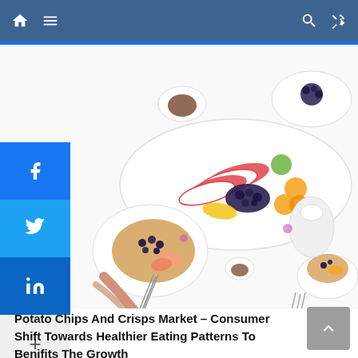Navigation bar with home, menu, search, and shuffle icons
[Figure (photo): Overhead flat lay of healthy food spread: plates of pancakes with blueberries and fruit, a large platter with dragon fruit, kiwi, oranges, blueberries, a small bowl of chocolate sauce, coffee cups, and hands holding a fork over a plate.]
Potato Chips And Crisps Market – Consumer Shift Towards Healthier Eating Patterns To Benifits The Growth